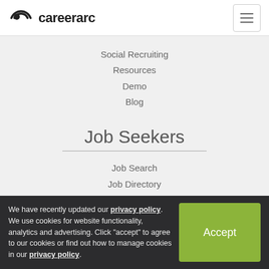careerarc
Social Recruiting
Resources
Demo
Blog
Job Seekers
Job Search
Job Directory
Job Listings
Veterans
[Figure (illustration): Social media icons: Twitter (teal), Facebook (blue), Google+ (green), LinkedIn (blue)]
We have recently updated our privacy policy. We use cookies for website functionality, analytics and advertising. Click "accept" to agree to our cookies or find out how to manage cookies in our privacy policy.